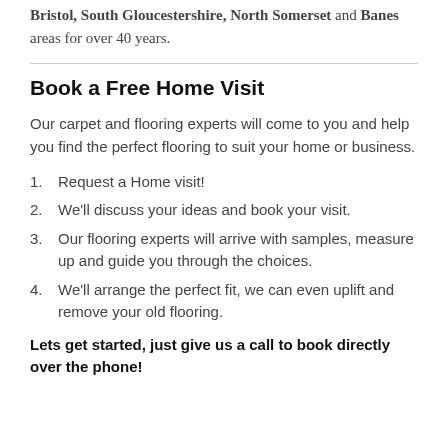Bristol, South Gloucestershire, North Somerset and Banes areas for over 40 years.
Book a Free Home Visit
Our carpet and flooring experts will come to you and help you find the perfect flooring to suit your home or business.
1. Request a Home visit!
2. We'll discuss your ideas and book your visit.
3. Our flooring experts will arrive with samples, measure up and guide you through the choices.
4. We'll arrange the perfect fit, we can even uplift and remove your old flooring.
Lets get started, just give us a call to book directly over the phone!